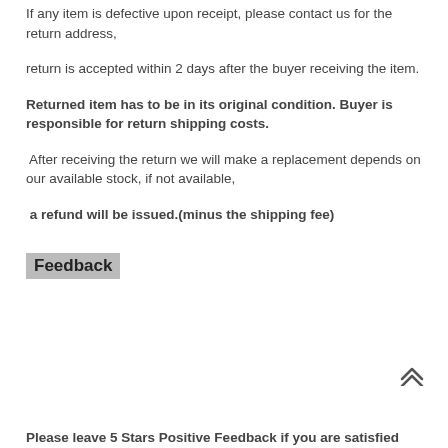If any item is defective upon receipt, please contact us for the return address,
return is accepted within 2 days after the buyer receiving the item.
Returned item has to be in its original condition. Buyer is responsible for return shipping costs.
After receiving the return we will make a replacement depends on our available stock, if not available,
a refund will be issued.(minus the shipping fee)
Feedback
Please leave 5 Stars Positive Feedback if you are satisfied